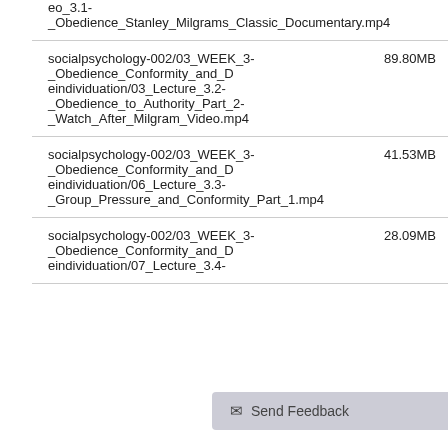eo_3.1-_Obedience_Stanley_Milgrams_Classic_Documentary.mp4
socialpsychology-002/03_WEEK_3-_Obedience_Conformity_and_Deindividuation/03_Lecture_3.2-_Obedience_to_Authority_Part_2-_Watch_After_Milgram_Video.mp4 89.80MB
socialpsychology-002/03_WEEK_3-_Obedience_Conformity_and_Deindividuation/06_Lecture_3.3-_Group_Pressure_and_Conformity_Part_1.mp4 41.53MB
socialpsychology-002/03_WEEK_3-_Obedience_Conformity_and_Deindividuation/07_Lecture_3.4- 28.09MB